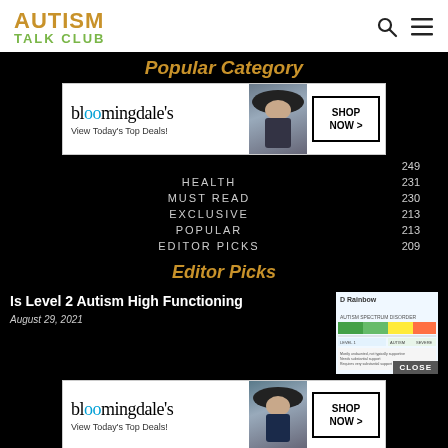AUTISM TALK CLUB
Popular Category
[Figure (other): Bloomingdale's advertisement banner: 'View Today's Top Deals!' with a woman in a hat and 'SHOP NOW >' button]
HEALTH  249
HEALTH  231
MUST READ  230
EXCLUSIVE  213
POPULAR  213
EDITOR PICKS  209
Editor Picks
Is Level 2 Autism High Functioning
August 29, 2021
[Figure (other): Thumbnail showing autism spectrum disorder rainbow diagram]
[Figure (other): Bloomingdale's advertisement banner: 'View Today's Top Deals!' with a woman in a hat and 'SHOP NOW >' button]
Can Au...